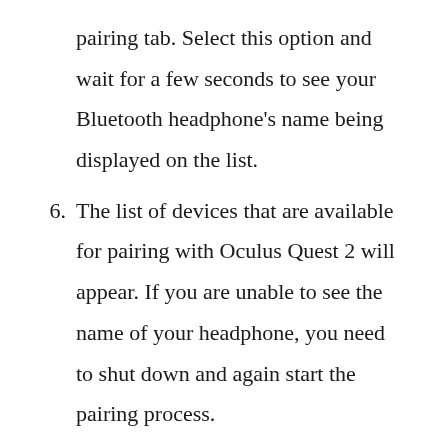pairing tab. Select this option and wait for a few seconds to see your Bluetooth headphone’s name being displayed on the list.
6. The list of devices that are available for pairing with Oculus Quest 2 will appear. If you are unable to see the name of your headphone, you need to shut down and again start the pairing process.
7. Connect your headphones to the device. You can now enjoy the sound